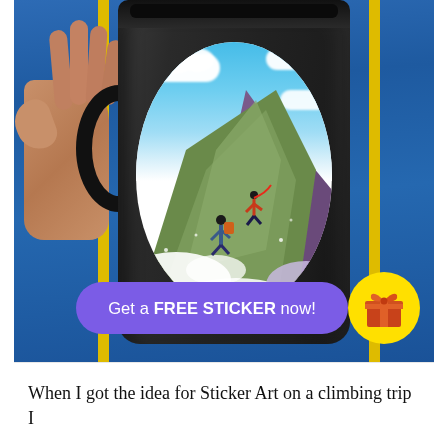[Figure (photo): A hand holding a dark travel mug/tumbler with a decorative oval sticker showing two mountain climbers ascending a rocky peak with blue sky and clouds. The person is wearing a blue jacket with yellow stripes. The mug has a black lid.]
Get a FREE STICKER now!
When I got the idea for Sticker Art on a climbing trip I